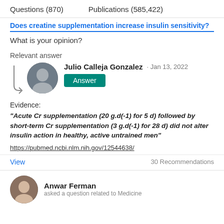Questions (870)    Publications (585,422)
Does creatine supplementation increase insulin sensitivity?
What is your opinion?
Relevant answer
Julio Calleja Gonzalez · Jan 13, 2022
Evidence:
"Acute Cr supplementation (20 g.d(-1) for 5 d) followed by short-term Cr supplementation (3 g.d(-1) for 28 d) did not alter insulin action in healthy, active untrained men"
https://pubmed.ncbi.nlm.nih.gov/12544638/
View    30 Recommendations
Anwar Ferman